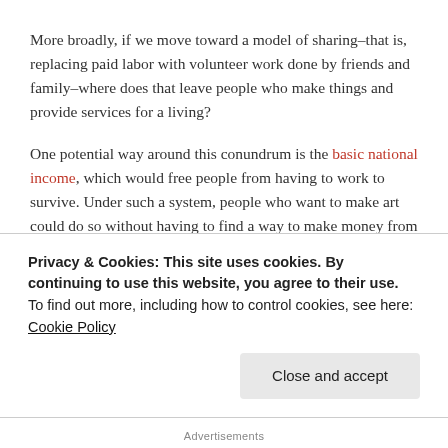More broadly, if we move toward a model of sharing–that is, replacing paid labor with volunteer work done by friends and family–where does that leave people who make things and provide services for a living?
One potential way around this conundrum is the basic national income, which would free people from having to work to survive. Under such a system, people who want to make art could do so without having to find a way to make money from it, and people who want to volunteer for their friends could do so without losing out on much-needed wages. But even then, there are probably many people who would want to do these types of work. After all, being an
Privacy & Cookies: This site uses cookies. By continuing to use this website, you agree to their use.
To find out more, including how to control cookies, see here: Cookie Policy
Close and accept
Advertisements